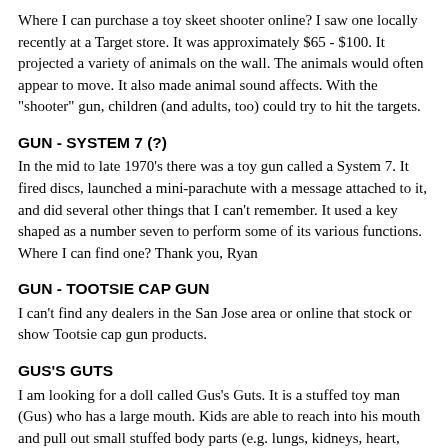Where I can purchase a toy skeet shooter online? I saw one locally recently at a Target store. It was approximately $65 - $100. It projected a variety of animals on the wall. The animals would often appear to move. It also made animal sound affects. With the "shooter" gun, children (and adults, too) could try to hit the targets.
GUN - SYSTEM 7 (?)
In the mid to late 1970's there was a toy gun called a System 7. It fired discs, launched a mini-parachute with a message attached to it, and did several other things that I can't remember. It used a key shaped as a number seven to perform some of its various functions. Where I can find one? Thank you, Ryan
GUN - TOOTSIE CAP GUN
I can't find any dealers in the San Jose area or online that stock or show Tootsie cap gun products.
GUS'S GUTS
I am looking for a doll called Gus's Guts. It is a stuffed toy man (Gus) who has a large mouth. Kids are able to reach into his mouth and pull out small stuffed body parts (e.g. lungs, kidneys, heart, spleen, etc.). I am looking for where I can get one (or two), and who makes or sells them.
HAIR STYLING HEAD - 1
I am looking for a doll called Gus's Guts. It is a stuffed toy man...